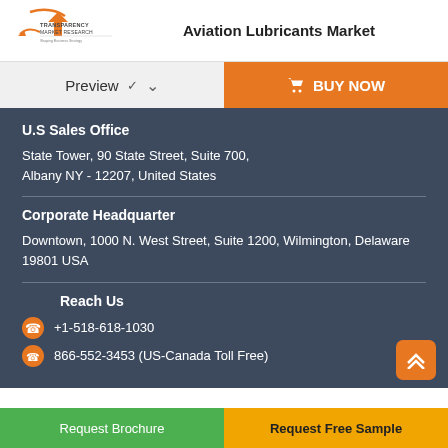Aviation Lubricants Market
Preview   BUY NOW
U.S Sales Office
State Tower, 90 State Street, Suite 700, Albany NY - 12207, United States
Corporate Headquarter
Downtown, 1000 N. West Street, Suite 1200, Wilmington, Delaware 19801 USA
Reach Us
+1-518-618-1030
866-552-3453 (US-Canada Toll Free)
Request Brochure   Request Free Sample